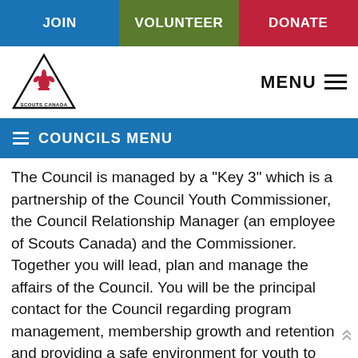JOIN | VOLUNTEER | DONATE
[Figure (logo): Scouts Canada triangular logo with fleur-de-lis emblem and 'SCOUTS CANADA' text]
COUNCILS MENU
The Council is managed by a "Key 3" which is a partnership of the Council Youth Commissioner, the Council Relationship Manager (an employee of Scouts Canada) and the Commissioner. Together you will lead, plan and manage the affairs of the Council. You will be the principal contact for the Council regarding program management, membership growth and retention and providing a safe environment for youth to learn and develop. You ensure that activities of the Council